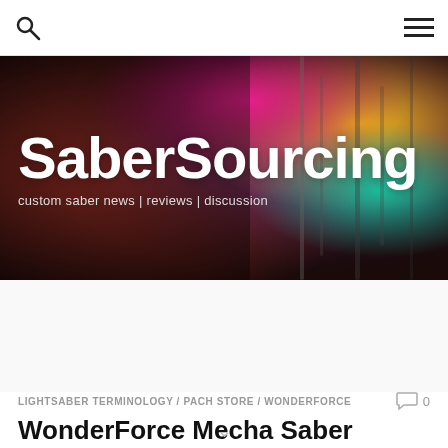SaberSourcing - custom saber news | reviews | discussion
[Figure (illustration): SaberSourcing website banner with colorful lightsaber background showing large white bold text 'SaberSourcing' and subtitle 'custom saber news | reviews | discussion']
LIGHTSABER TERMINOLOGY / PACH STORE / WONDERFORCE
WonderForce Mecha Saber Unveiled | New Saber Alert